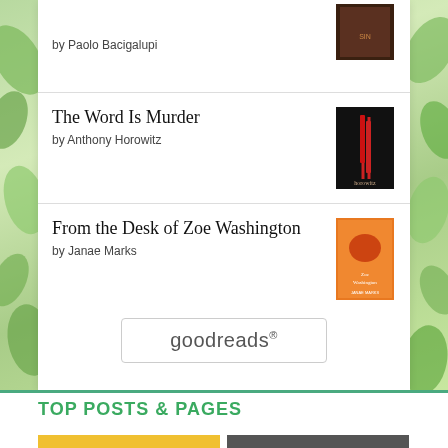by Paolo Bacigalupi
The Word Is Murder
by Anthony Horowitz
From the Desk of Zoe Washington
by Janae Marks
[Figure (logo): goodreads logo in a rounded rectangle button]
TOP POSTS & PAGES
[Figure (photo): Book cover thumbnail on yellow background showing 'court' text]
[Figure (photo): Book cover thumbnail with 'THE' text visible on dark background]